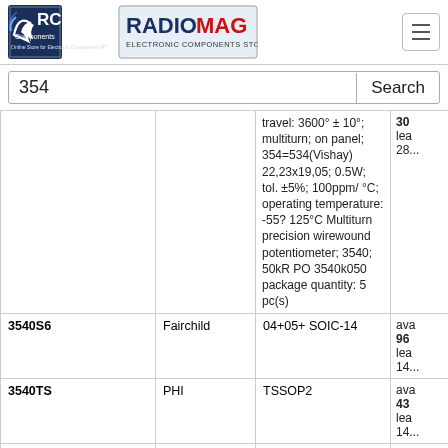[Figure (logo): RCS Components and RadioMag Electronic Components Store logos]
354 Search
| Part | Manufacturer | Description | Availability |
| --- | --- | --- | --- |
|  |  | travel: 3600° ± 10°; multiturn; on panel; 354=534(Vishay) 22,23x19,05; 0.5W; tol. ±5%; 100ppm/°C; operating temperature: -55? 125°C Multiturn precision wirewound potentiometer; 3540; 50kR PO 3540k050 package quantity: 5 pc(s) | 30 lea 28... |
| 3540S6 | Fairchild | 04+05+ SOIC-14 | ava 96 lea 14... |
| 3540TS | PHI | TSSOP2 | ava 43 lea 14... |
| 3541 MC005 | ALPHA WIRE | Material: 3541- | out |